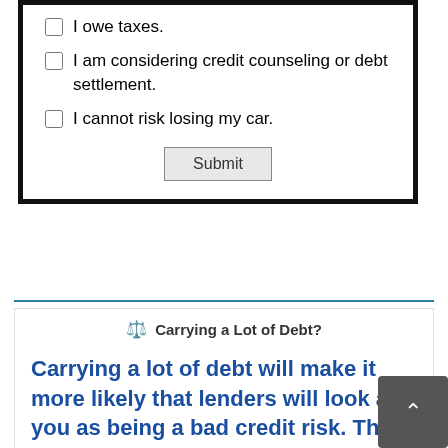I owe taxes.
I am considering credit counseling or debt settlement.
I cannot risk losing my car.
[Figure (screenshot): Submit button for the form]
⚖ Carrying a Lot of Debt?
Carrying a lot of debt will make it more likely that lenders will look at you as being a bad credit risk. This typically